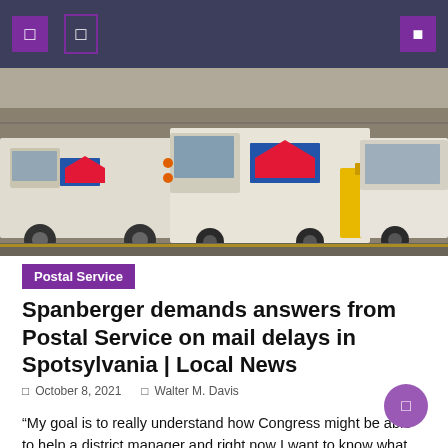Navigation bar with menu icons and search
[Figure (photo): USPS mail trucks parked at a postal facility with yellow barriers and equipment visible]
Postal Service
Spanberger demands answers from Postal Service on mail delays in Spotsylvania | Local News
October 8, 2021   Walter M. Davis
“My goal is to really understand how Congress might be able to help a district manager and right now I want to know what they can do,” Spanberger said. “At the time of delivery, what concrete steps are they taking in Spotsylvania, Fredericksburg, to expedite the delivery time?” As of Friday, Spanberger had not received […]